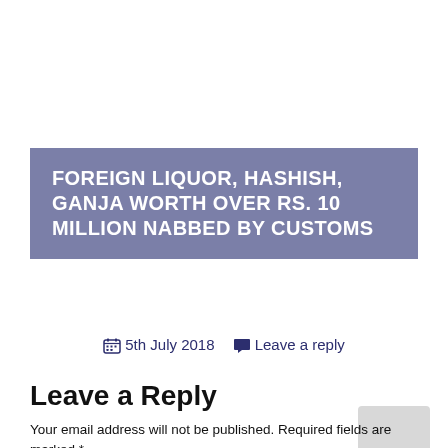FOREIGN LIQUOR, HASHISH, GANJA WORTH OVER RS. 10 MILLION NABBED BY CUSTOMS
5th July 2018   Leave a reply
Leave a Reply
Your email address will not be published. Required fields are marked *